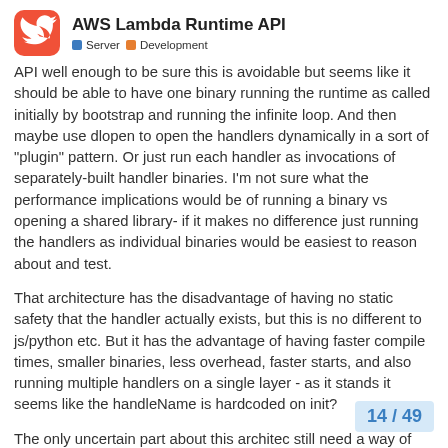AWS Lambda Runtime API
API well enough to be sure this is avoidable but seems like it should be able to have one binary running the runtime as called initially by bootstrap and running the infinite loop. And then maybe use dlopen to open the handlers dynamically in a sort of “plugin” pattern. Or just run each handler as invocations of separately-built handler binaries. I’m not sure what the performance implications would be of running a binary vs opening a shared library- if it makes no difference just running the handlers as individual binaries would be easiest to reason about and test.
That architecture has the disadvantage of having no static safety that the handler actually exists, but this is no different to js/python etc. But it has the advantage of having faster compile times, smaller binaries, less overhead, faster starts, and also running multiple handlers on a single layer - as it stands it seems like the handleName is hardcoded on init?
The only uncertain part about this architec still need a way of sharing datatypes for ev